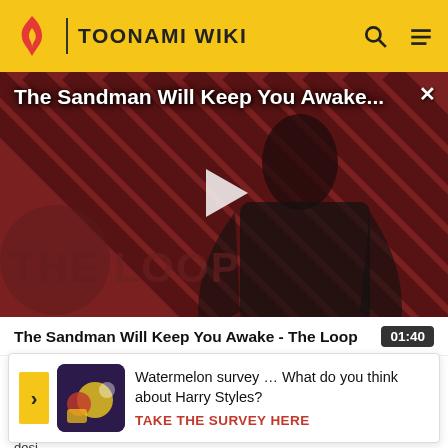TOONAMI WIKI
[Figure (screenshot): Video player showing 'The Sandman Will Keep You Awake...' with a dark-cloaked figure against a red and black diagonal striped background with 'THE LOOP' watermark. A white play button triangle is centered.]
The Sandman Will Keep You Awake - The Loop
01:40
Watermelon survey … What do you think about Harry Styles? TAKE THE SURVEY HERE
Mou pla seen awa desi